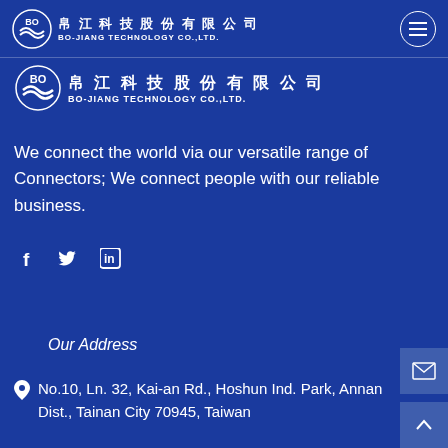[Figure (logo): Bo-Jiang Technology Co.,Ltd. logo in navigation bar with Chinese characters 帛江科技股份有限公司 and hamburger menu icon]
[Figure (logo): Bo-Jiang Technology Co.,Ltd. secondary logo with Chinese characters 帛江科技股份有限公司]
We connect the world via our versatile range of Connectors; We connect people with our reliable business.
[Figure (illustration): Social media icons: Facebook (f), Twitter (bird), LinkedIn (in)]
Our Address
No.10, Ln. 32, Kai-an Rd., Hoshun Ind. Park, Annan Dist., Tainan City 70945, Taiwan